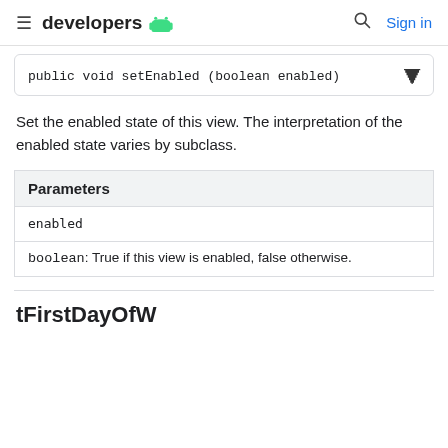developers [android logo] | Sign in
public void setEnabled (boolean enabled)
Set the enabled state of this view. The interpretation of the enabled state varies by subclass.
| Parameters |
| --- |
| enabled |  |
|  | boolean: True if this view is enabled, false otherwise. |
tFirstDayOfW...